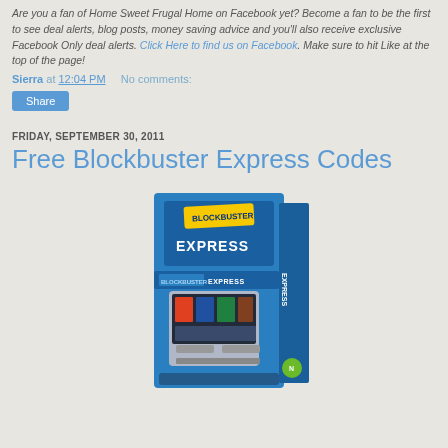Are you a fan of Home Sweet Frugal Home on Facebook yet? Become a fan to be the first to see deal alerts, blog posts, money saving advice and you'll also receive exclusive Facebook Only deal alerts. Click Here to find us on Facebook. Make sure to hit Like at the top of the page!
Sierra at 12:04 PM    No comments:
Share
FRIDAY, SEPTEMBER 30, 2011
Free Blockbuster Express Codes
[Figure (photo): Blockbuster Express kiosk machine, a blue vending-style unit with a touch screen, displaying the Blockbuster Express branding and logo]